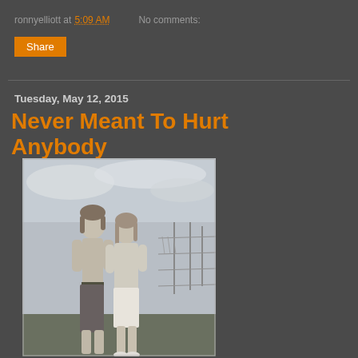ronnyelliott at 5:09 AM   No comments:
Share
Tuesday, May 12, 2015
Never Meant To Hurt Anybody
[Figure (photo): Old black and white photograph of two people standing outside near a chain-link fence. A shirtless young man with longer hair stands beside a woman in a cardigan.]